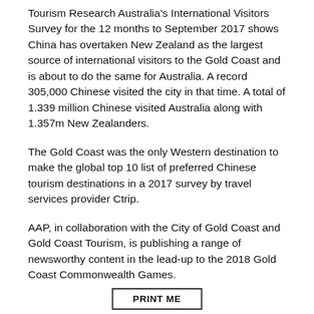Tourism Research Australia's International Visitors Survey for the 12 months to September 2017 shows China has overtaken New Zealand as the largest source of international visitors to the Gold Coast and is about to do the same for Australia. A record 305,000 Chinese visited the city in that time. A total of 1.339 million Chinese visited Australia along with 1.357m New Zealanders.
The Gold Coast was the only Western destination to make the global top 10 list of preferred Chinese tourism destinations in a 2017 survey by travel services provider Ctrip.
AAP, in collaboration with the City of Gold Coast and Gold Coast Tourism, is publishing a range of newsworthy content in the lead-up to the 2018 Gold Coast Commonwealth Games.